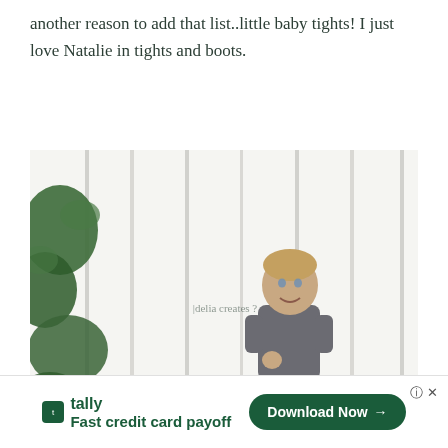another reason to add that list..little baby tights! I just love Natalie in tights and boots.
[Figure (photo): Young toddler girl smiling and standing in front of a white weathered wood fence with green vines/leaves. She is wearing a gray long-sleeve top, dark navy polka-dot tights, and brown ankle boots. Watermark reads 'delia creates'.]
[Figure (photo): Partial lower portion of a second photo showing similar outdoor scene with green foliage and white fence.]
tally Fast credit card payoff Download Now →